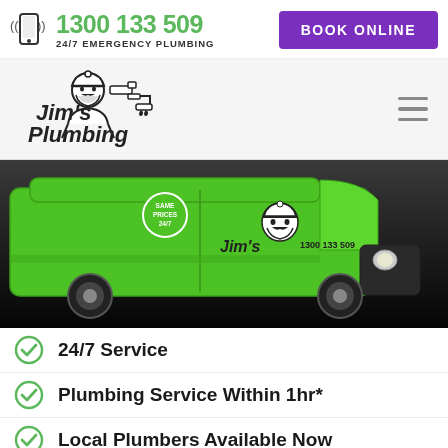1300 133 509 — 24/7 EMERGENCY PLUMBING | BOOK ONLINE
[Figure (logo): Jim's Plumbing logo with cartoon man wearing beanie hat and plumbing fixtures]
[Figure (photo): Green Jim's Plumbing van with 1300 133 509 and Jim's mascot on the side, shown on dark background. Text on van: SAME PRICES 24/7]
24/7 Service
Plumbing Service Within 1hr*
Local Plumbers Available Now
$0 Interest Free Option**